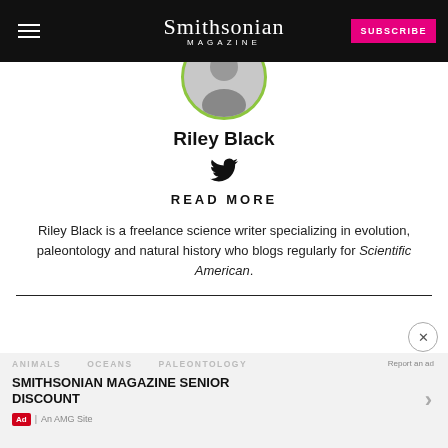Smithsonian Magazine
[Figure (photo): Circular profile photo of Riley Black with green circular border, black and white portrait]
Riley Black
[Figure (other): Twitter bird icon]
READ MORE
Riley Black is a freelance science writer specializing in evolution, paleontology and natural history who blogs regularly for Scientific American.
SMITHSONIAN MAGAZINE SENIOR DISCOUNT
Ad | An AMG Site